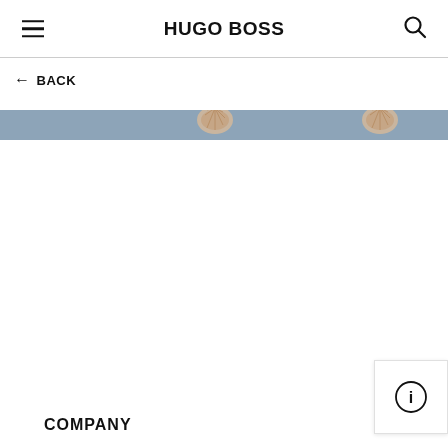HUGO BOSS
← BACK
[Figure (photo): Banner image with a muted blue-grey background and two decorative shell/knit items partially visible at the top of the image strip.]
COMPANY